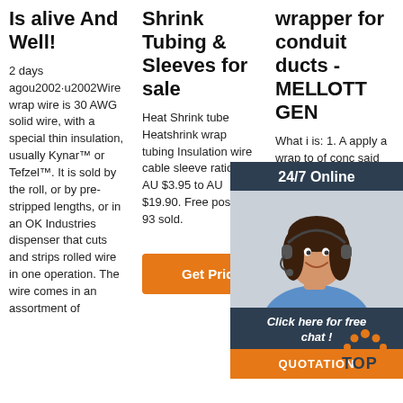Is alive And Well!
2 days agou2002·u2002Wire wrap wire is 30 AWG solid wire, with a special thin insulation, usually Kynar™ or Tefzel™. It is sold by the roll, or by pre-stripped lengths, or in an OK Industries dispenser that cuts and strips rolled wire in one operation. The wire comes in an assortment of
Shrink Tubing & Sleeves for sale
Heat Shrink tube Heatshrink wrap tubing Insulation wire cable sleeve ratio 2:1. AU $3.95 to AU $19.90. Free postage. 93 sold.
Get Price
wrapper for conduit ducts - MELLOTT GEN
What i is: 1. A apply a wrap to of conc said ap includi rotata suppor rotator driven by a drive for rotation about a central axis extending perpendicular to the plane of
[Figure (photo): Chat agent photo - woman with headset, 24/7 Online panel, Click here for free chat, QUOTATION button]
[Figure (infographic): TOP scroll-to-top button with orange dots arc design]